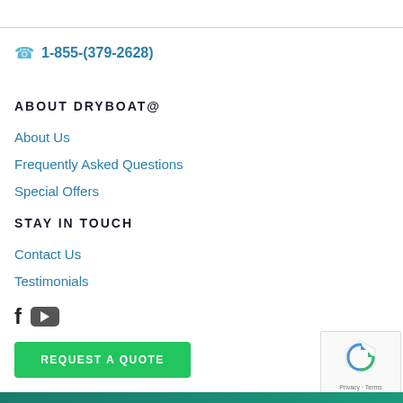1-855-(379-2628)
ABOUT DRYBOAT@
About Us
Frequently Asked Questions
Special Offers
STAY IN TOUCH
Contact Us
Testimonials
[Figure (logo): Facebook and YouTube social media icons]
REQUEST A QUOTE
[Figure (other): reCAPTCHA widget with Privacy and Terms links]